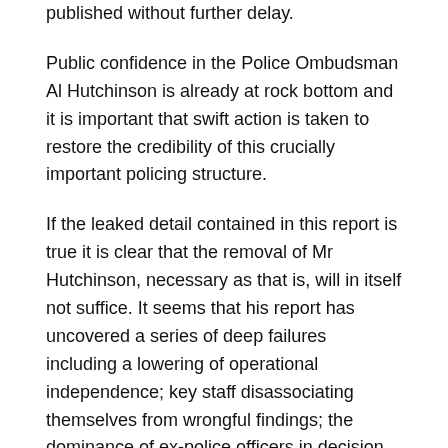published without further delay.
Public confidence in the Police Ombudsman Al Hutchinson is already at rock bottom and it is important that swift action is taken to restore the credibility of this crucially important policing structure.
If the leaked detail contained in this report is true it is clear that the removal of Mr Hutchinson, necessary as that is, will in itself not suffice. It seems that his report has uncovered a series of deep failures including a lowering of operational independence; key staff disassociating themselves from wrongful findings; the dominance of ex-police officers in decision making ; an arrangement to avoid criticism of Special Branch in inquiries into historic cases and the rewriting of reports at their final stage in contradiction to the findings.